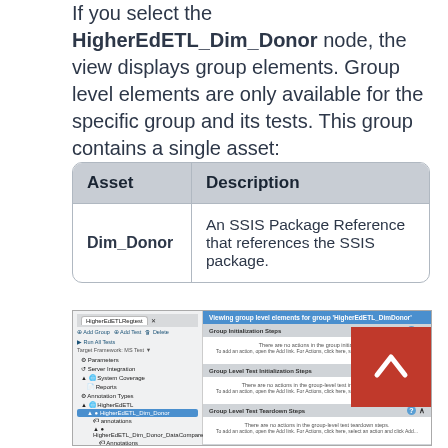If you select the HigherEdETL_Dim_Donor node, the view displays group elements. Group level elements are only available for the specific group and its tests. This group contains a single asset:
| Asset | Description |
| --- | --- |
| Dim_Donor | An SSIS Package Reference that references the SSIS package. |
[Figure (screenshot): Screenshot of a software UI showing a tree view with HigherEdETL_Dim_Donor selected, and a main panel showing group level elements sections (Group Initialization Steps, Group Level Test Initialization Steps, Group Level Test Teardown Steps, Group Teardown Steps) with a red arrow overlay in the upper right.]